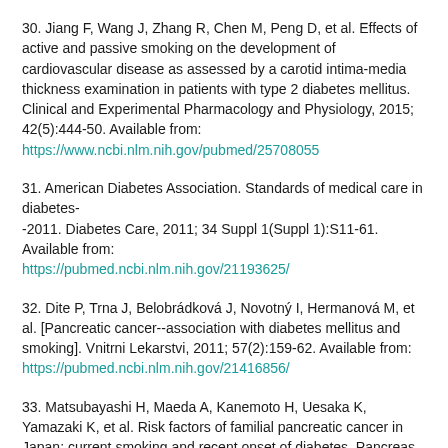30. Jiang F, Wang J, Zhang R, Chen M, Peng D, et al. Effects of active and passive smoking on the development of cardiovascular disease as assessed by a carotid intima-media thickness examination in patients with type 2 diabetes mellitus. Clinical and Experimental Pharmacology and Physiology, 2015; 42(5):444-50. Available from: https://www.ncbi.nlm.nih.gov/pubmed/25708055
31. American Diabetes Association. Standards of medical care in diabetes--2011. Diabetes Care, 2011; 34 Suppl 1(Suppl 1):S11-61. Available from: https://pubmed.ncbi.nlm.nih.gov/21193625/
32. Dite P, Trna J, Belobrádková J, Novotný I, Hermanová M, et al. [Pancreatic cancer--association with diabetes mellitus and smoking]. Vnitrni Lekarstvi, 2011; 57(2):159-62. Available from: https://pubmed.ncbi.nlm.nih.gov/21416856/
33. Matsubayashi H, Maeda A, Kanemoto H, Uesaka K, Yamazaki K, et al. Risk factors of familial pancreatic cancer in Japan: current smoking and recent onset of diabetes. Pancreas, 2011; 40(6):974-8. Available from: https://pubmed.ncbi.nlm.nih.gov/21487321/
34. Park SM, Lim MK, Jung KW, Shin SA, Yoo KY, et al. Prediagnosis